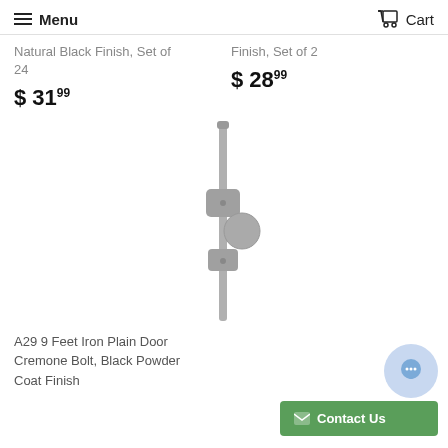Menu  Cart
Natural Black Finish, Set of 24
$ 31.99
Finish, Set of 2
$ 28.99
[Figure (photo): A29 9 Feet Iron Plain Door Cremone Bolt hardware item, photographed in gray/black tone on white background]
A29 9 Feet Iron Plain Door Cremone Bolt, Black Powder Coat Finish